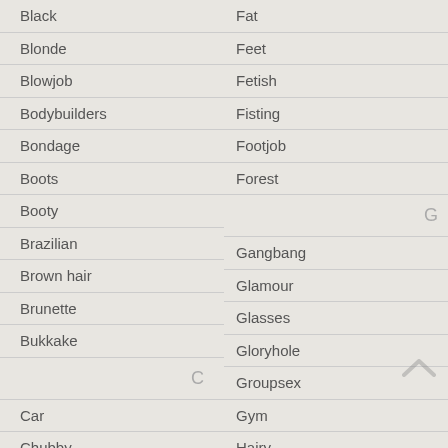Black
Blonde
Blowjob
Bodybuilders
Bondage
Boots
Booty
Brazilian
Brown hair
Brunette
Bukkake
C
Car
Chubby
Fat
Feet
Fetish
Fisting
Footjob
Forest
G
Gangbang
Glamour
Glasses
Gloryhole
Groupsex
Gym
Hairy